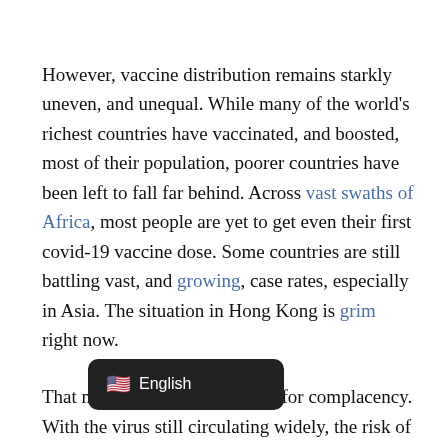However, vaccine distribution remains starkly uneven, and unequal. While many of the world's richest countries have vaccinated, and boosted, most of their population, poorer countries have been left to fall far behind. Across vast swaths of Africa, most people are yet to get even their first covid-19 vaccine dose. Some countries are still battling vast, and growing, case rates, especially in Asia. The situation in Hong Kong is grim right now.
That means there is little cause for complacency. With the virus still circulating widely, the risk of a dangerous new variant remains very real.
Two years on, we're also still arguing over where and why covid [obscured] n the first place, because scientists are still [obscured] he definitive clues.